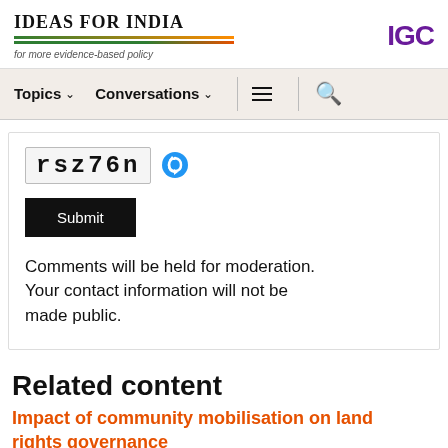IDEAS FOR INDIA — for more evidence-based policy | IGC
Topics  Conversations
[Figure (other): CAPTCHA image showing 'rsz76n' with a refresh icon]
Submit
Comments will be held for moderation. Your contact information will not be made public.
Related content
Impact of community mobilisation on land rights governance